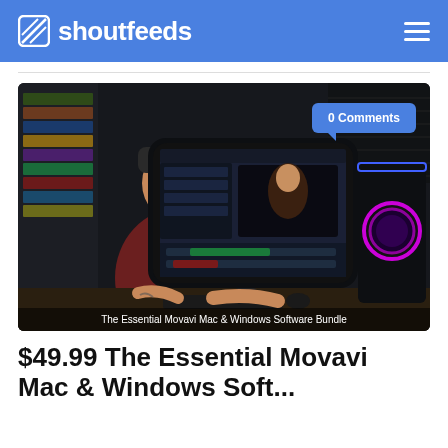shoutfeeds
[Figure (photo): Person sitting at a desk editing video on a large curved monitor, with an RGB gaming PC to the right and a bookshelf in the background. Caption: The Essential Movavi Mac & Windows Software Bundle. Badge: 0 Comments.]
The Essential Movavi Mac & Windows Software Bundle
$49.99 The Essential Movavi Mac & Windows Software Bundle